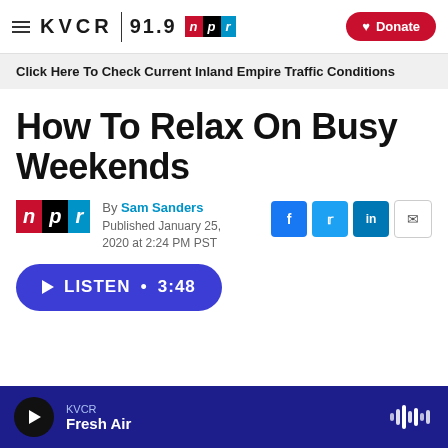KVCR 91.9 NPR — Donate
Click Here To Check Current Inland Empire Traffic Conditions
How To Relax On Busy Weekends
By Sam Sanders
Published January 25, 2020 at 2:24 PM PST
LISTEN • 3:48
KVCR Fresh Air